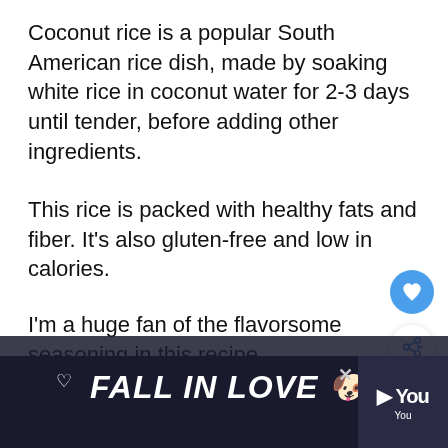Coconut rice is a popular South American rice dish, made by soaking white rice in coconut water for 2-3 days until tender, before adding other ingredients.
This rice is packed with healthy fats and fiber. It's also gluten-free and low in calories.
I'm a huge fan of the flavorsome seasoning in this recipe.
If you prefer a more savory flavor, you could
[Figure (screenshot): Advertisement banner at the bottom of the page with text 'FALL IN LOVE' in bold italic white letters, a dog image, close button, and a YouTube-style logo on the right.]